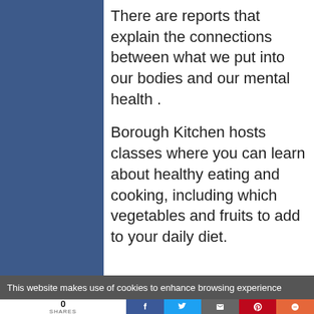There are reports that explain the connections between what we put into our bodies and our mental health .
Borough Kitchen hosts classes where you can learn about healthy eating and cooking, including which vegetables and fruits to add to your daily diet.
This website makes use of cookies to enhance browsing experience
0 SHARES